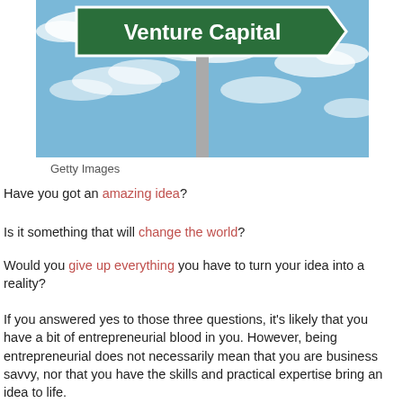[Figure (photo): A green highway road sign reading 'Venture Capital' against a blue sky with clouds, mounted on a metal pole.]
Getty Images
Have you got an amazing idea?
Is it something that will change the world?
Would you give up everything you have to turn your idea into a reality?
If you answered yes to those three questions, it's likely that you have a bit of entrepreneurial blood in you. However, being entrepreneurial does not necessarily mean that you are business savvy, nor that you have the skills and practical expertise bring an idea to life.